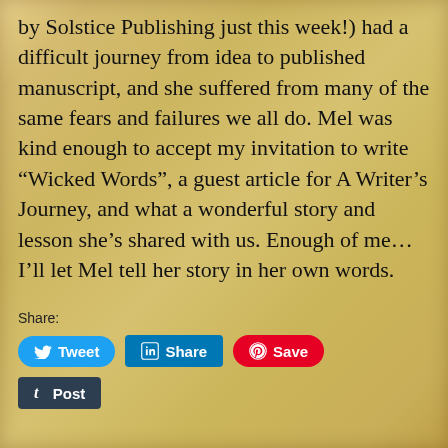by Solstice Publishing just this week!) had a difficult journey from idea to published manuscript, and she suffered from many of the same fears and failures we all do. Mel was kind enough to accept my invitation to write “Wicked Words”, a guest article for A Writer’s Journey, and what a wonderful story and lesson she’s shared with us. Enough of me…I’ll let Mel tell her story in her own words.
Share:
[Figure (screenshot): Social sharing buttons: Tweet (Twitter/blue), Share (LinkedIn/blue), Save (Pinterest/red), Post (Tumblr/dark)]
Like this:
[Figure (screenshot): Like button (white with blue star)]
Be the first to like this.